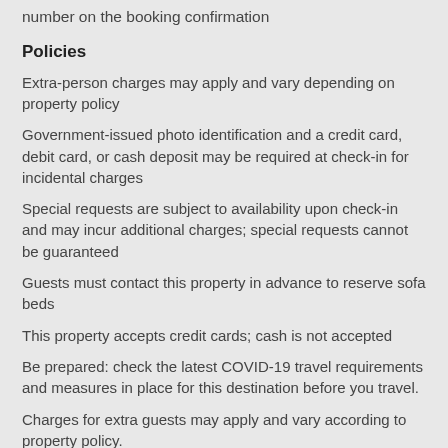number on the booking confirmation
Policies
Extra-person charges may apply and vary depending on property policy
Government-issued photo identification and a credit card, debit card, or cash deposit may be required at check-in for incidental charges
Special requests are subject to availability upon check-in and may incur additional charges; special requests cannot be guaranteed
Guests must contact this property in advance to reserve sofa beds
This property accepts credit cards; cash is not accepted
Be prepared: check the latest COVID-19 travel requirements and measures in place for this destination before you travel.
Charges for extra guests may apply and vary according to property policy.
A cash deposit, credit card, or debit card for incidental charges and government-issued photo identification may be required upon check-in.
Special requests are subject to availability at the time of check-in. Special requests can't be guaranteed and may incur additional charges.
This property is managed by a professional host. The provision of housing is linked to their trade, business, or profession. Guests must